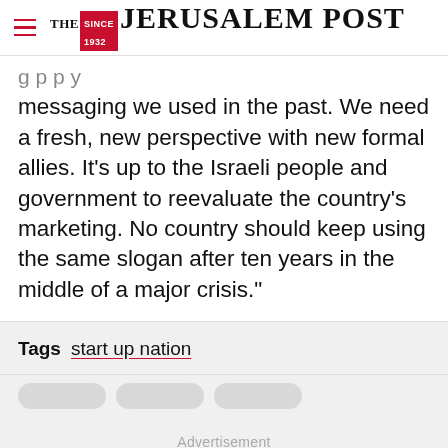THE JERUSALEM POST
messaging we used in the past. We need a fresh, new perspective with new formal allies. It’s up to the Israeli people and government to reevaluate the country’s marketing. No country should keep using the same slogan after ten years in the middle of a major crisis.”
Tags  start up nation
Advertisement